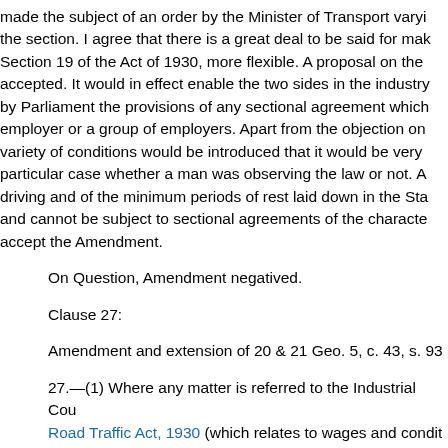made the subject of an order by the Minister of Transport varyi the section. I agree that there is a great deal to be said for mak Section 19 of the Act of 1930, more flexible. A proposal on the accepted. It would in effect enable the two sides in the industry by Parliament the provisions of any sectional agreement which employer or a group of employers. Apart from the objection on variety of conditions would be introduced that it would be very particular case whether a man was observing the law or not. A driving and of the minimum periods of rest laid down in the Sta and cannot be subject to sectional agreements of the characte accept the Amendment.
On Question, Amendment negatived.
Clause 27:
Amendment and extension of 20 & 21 Geo. 5, c. 43, s. 93
27.—(1) Where any matter is referred to the Industrial Cou Road Traffic Act, 1930 (which relates to wages and condit arriving at its decision, shall have regard to any determina